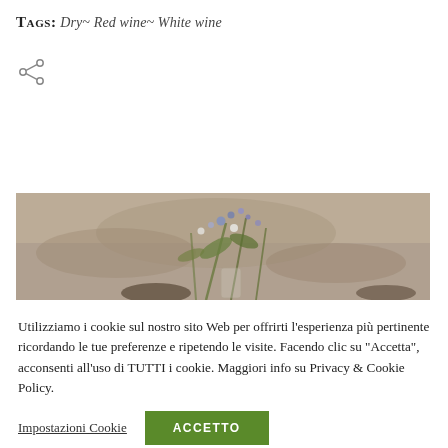TAGS: Dry~ Red wine~ White wine
[Figure (illustration): Share icon (three circles connected by lines)]
[Figure (photo): Partial photo of flowers/plant arrangement on a table, warm brown tones, cropped at top of image]
Utilizziamo i cookie sul nostro sito Web per offrirti l'esperienza più pertinente ricordando le tue preferenze e ripetendo le visite. Facendo clic su "Accetta", acconsenti all'uso di TUTTI i cookie. Maggiori info su Privacy & Cookie Policy.
Impostazioni Cookie
ACCETTO